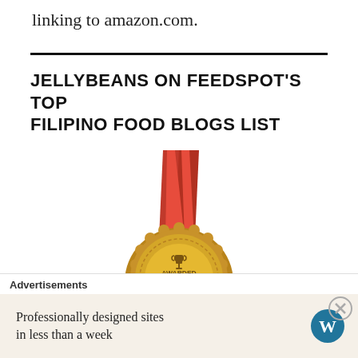linking to amazon.com.
JELLYBEANS ON FEEDSPOT'S TOP FILIPINO FOOD BLOGS LIST
[Figure (illustration): A gold medal award badge with red ribbon, text reading 'AWARDED TOP 50 FILIPINO FOOD BLOG' with a trophy icon in the center]
Advertisements
Professionally designed sites in less than a week